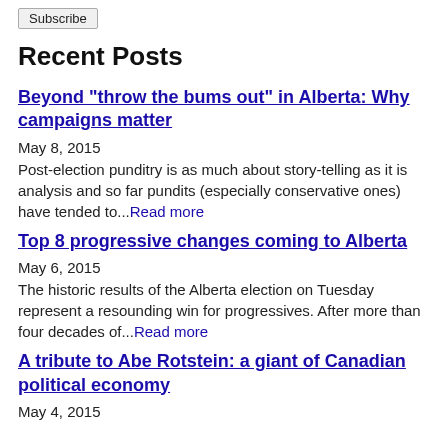Subscribe
Recent Posts
Beyond "throw the bums out" in Alberta: Why campaigns matter
May 8, 2015
Post-election punditry is as much about story-telling as it is analysis and so far pundits (especially conservative ones) have tended to...Read more
Top 8 progressive changes coming to Alberta
May 6, 2015
The historic results of the Alberta election on Tuesday represent a resounding win for progressives. After more than four decades of...Read more
A tribute to Abe Rotstein: a giant of Canadian political economy
May 4, 2015